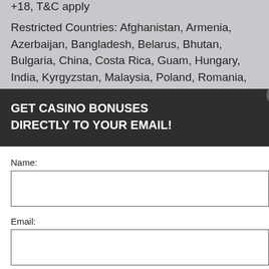+18, T&C apply
Restricted Countries: Afghanistan, Armenia, Azerbaijan, Bangladesh, Belarus, Bhutan, Bulgaria, China, Costa Rica, Guam, Hungary, India, Kyrgyzstan, Malaysia, Poland, Romania, Russia, Vietnam.
VIP NO DEPOSIT BONUS
...experience, we use ... Using this site, ...cookie & privacy policy.
GET CASINO BONUSES DIRECTLY TO YOUR EMAIL!
Name:
Email:
Submit
By subscribing you are certifying that you have reviewed and accepted our updated Privacy and Cookie policy.